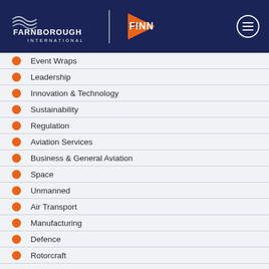[Figure (logo): Farnborough International and FINN logos on dark navy header with hamburger menu button]
Event Wraps
Leadership
Innovation & Technology
Sustainability
Regulation
Aviation Services
Business & General Aviation
Space
Unmanned
Air Transport
Manufacturing
Defence
Rotorcraft